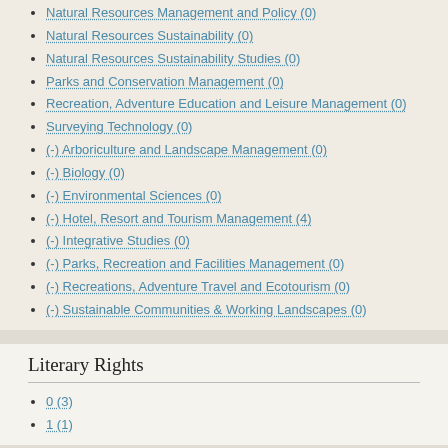Natural Resources Management and Policy (0)
Natural Resources Sustainability (0)
Natural Resources Sustainability Studies (0)
Parks and Conservation Management (0)
Recreation, Adventure Education and Leisure Management (0)
Surveying Technology (0)
(-) Arboriculture and Landscape Management (0)
(-) Biology (0)
(-) Environmental Sciences (0)
(-) Hotel, Resort and Tourism Management (4)
(-) Integrative Studies (0)
(-) Parks, Recreation and Facilities Management (0)
(-) Recreations, Adventure Travel and Ecotourism (0)
(-) Sustainable Communities & Working Landscapes (0)
Literary Rights
0 (3)
1 (1)
Access